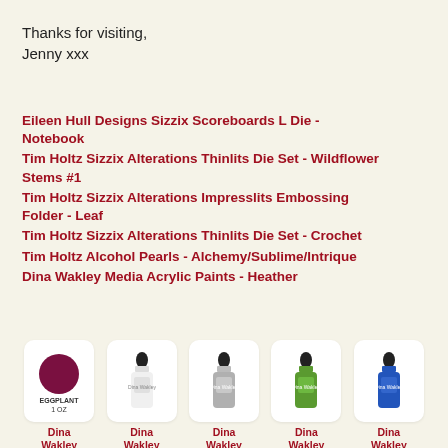Thanks for visiting,
Jenny xxx
Eileen Hull Designs Sizzix Scoreboards L Die - Notebook
Tim Holtz Sizzix Alterations Thinlits Die Set - Wildflower Stems #1
Tim Holtz Sizzix Alterations Impresslits Embossing Folder - Leaf
Tim Holtz Sizzix Alterations Thinlits Die Set - Crochet
Tim Holtz Alcohol Pearls - Alchemy/Sublime/Intrique
Dina Wakley Media Acrylic Paints - Heather
[Figure (photo): Five product images of Dina Wakley Media Acrylic Paint bottles in a row: eggplant/dark red circle swatch, white bottle, grey bottle, green bottle, blue bottle]
Dina Wakley Media Acrylic Paint -
Dina Wakley Media Acrylic Paint -
Dina Wakley Media Acrylic Paint -
Dina Wakley Media Acrylic Paint -
Dina Wakley Media Acrylic Paint -